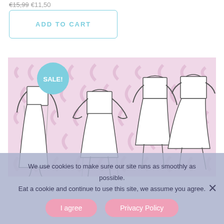€15,99 €11,50
ADD TO CART
[Figure (illustration): Fashion illustration showing multiple female figures wearing white two-piece outfits (crop top and skirt) on a pink leopard print background. A light blue circle badge reads 'SALE!' in the upper left.]
We use cookies to make sure our site runs as smoothly as possible. Eat a cookie and continue to use this site, we assume you agree.
I agree
Privacy Policy